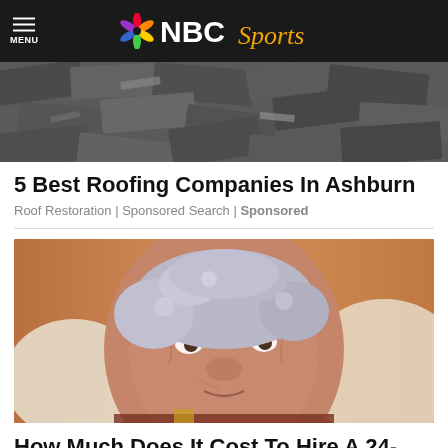MENU | NBC Sports
[Figure (photo): Damaged roof shingles, broken and scattered]
5 Best Roofing Companies In Ashburn
Roof Restoration | Sponsored Search | Sponsored
[Figure (photo): Elderly woman with gray curly hair looking at camera, seated in chair]
How Much Does It Cost To Hire A 24-Hour Live-